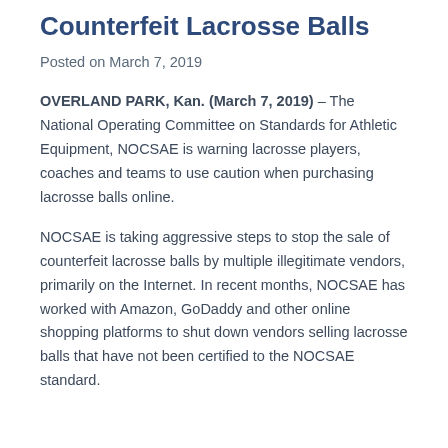Counterfeit Lacrosse Balls
Posted on March 7, 2019
OVERLAND PARK, Kan. (March 7, 2019) – The National Operating Committee on Standards for Athletic Equipment, NOCSAE is warning lacrosse players, coaches and teams to use caution when purchasing lacrosse balls online.
NOCSAE is taking aggressive steps to stop the sale of counterfeit lacrosse balls by multiple illegitimate vendors, primarily on the Internet. In recent months, NOCSAE has worked with Amazon, GoDaddy and other online shopping platforms to shut down vendors selling lacrosse balls that have not been certified to the NOCSAE standard.